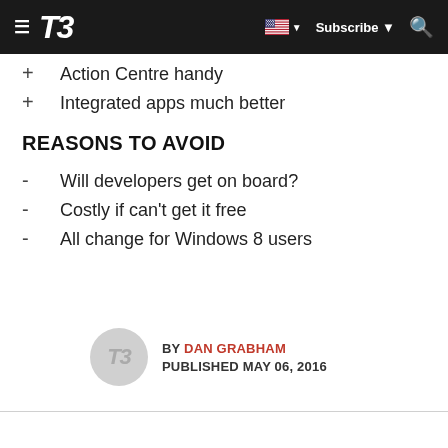T3 — Subscribe
+ Action Centre handy
+ Integrated apps much better
REASONS TO AVOID
- Will developers get on board?
- Costly if can't get it free
- All change for Windows 8 users
BY DAN GRABHAM PUBLISHED MAY 06, 2016